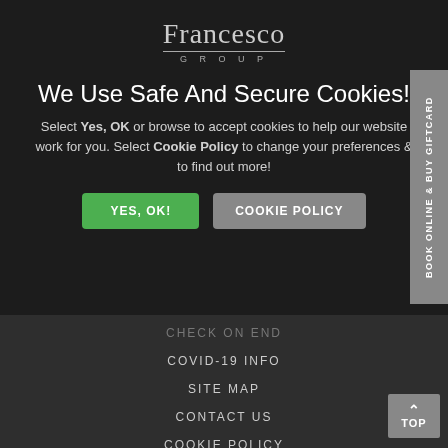[Figure (logo): Francesco Group logo with serif font and 'GROUP' subtitle]
We Use Safe And Secure Cookies!
Select Yes, OK or browse to accept cookies to help our website work for you. Select Cookie Policy to change your preferences & to find out more!
YES, OK! | COOKIE POLICY
COVID-19 INFO
SITE MAP
CONTACT US
COOKIE POLICY
BOOK ONLINE & BUY GIFTCARD